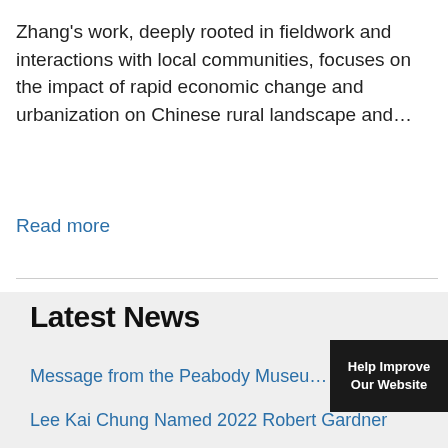Zhang's work, deeply rooted in fieldwork and interactions with local communities, focuses on the impact of rapid economic change and urbanization on Chinese rural landscape and…
Read more
Latest News
Message from the Peabody Museu…
Lee Kai Chung Named 2022 Robert Gardner